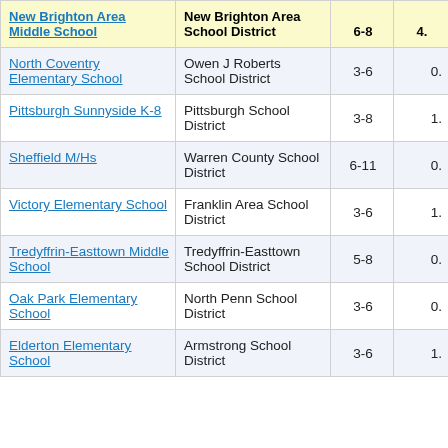| New Brighton Area Middle School | New Brighton Area School District | 6-8 | 4. |
| --- | --- | --- | --- |
| North Coventry Elementary School | Owen J Roberts School District | 3-6 | 0. |
| Pittsburgh Sunnyside K-8 | Pittsburgh School District | 3-8 | 1. |
| Sheffield M/Hs | Warren County School District | 6-11 | 0. |
| Victory Elementary School | Franklin Area School District | 3-6 | 1. |
| Tredyffrin-Easttown Middle School | Tredyffrin-Easttown School District | 5-8 | 0. |
| Oak Park Elementary School | North Penn School District | 3-6 | 0. |
| Elderton Elementary School | Armstrong School District | 3-6 | 1. |